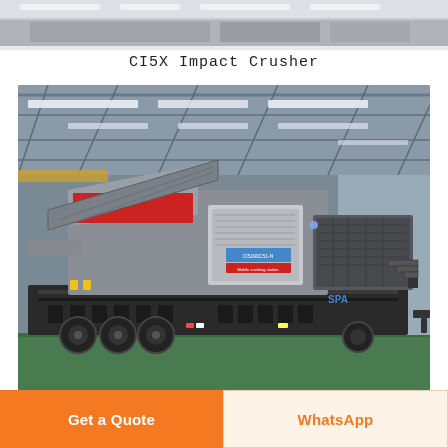[Figure (photo): Top portion of CI5X Impact Crusher machine, partial view from above]
CI5X Impact Crusher
[Figure (photo): Mobile CI5X Impact Crusher on a truck trailer inside a large industrial factory hall. The machine is gray with red accents, branded SPA, with control panel box labeled CI5190C51-N. Multiple wheels visible under trailer.]
Get a Quote
WhatsApp